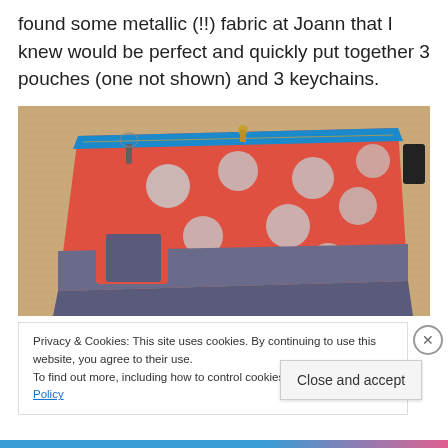found some metallic (!!) fabric at Joann that I knew would be perfect and quickly put together 3 pouches (one not shown) and 3 keychains.
[Figure (photo): A red and silver polka dot fabric zipper pouch with blue zipper, a D-ring attachment, and a monogram letter M keychain tag on the front. The pouch sits on a fluffy cream/beige carpet.]
Privacy & Cookies: This site uses cookies. By continuing to use this website, you agree to their use.
To find out more, including how to control cookies, see here: Cookie Policy
Close and accept